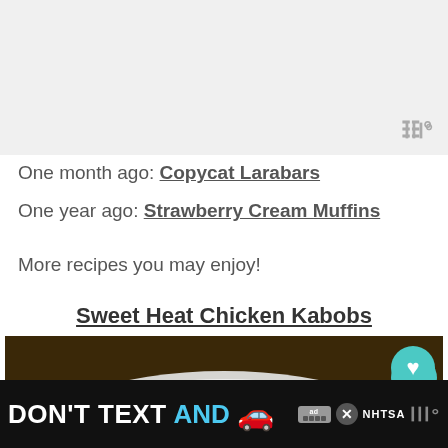[Figure (screenshot): Top gray area of a webpage screenshot with a watermark logo in the top right corner]
One month ago: Copycat Larabars
One year ago: Strawberry Cream Muffins
More recipes you may enjoy!
Sweet Heat Chicken Kabobs
[Figure (photo): Photo of grilled chicken kabobs on a white plate, with a teal heart button and white share button overlaid on the right side]
[Figure (photo): Advertisement banner at the bottom: DON'T TEXT AND [car emoji] with NHTSA ad badge and close button]